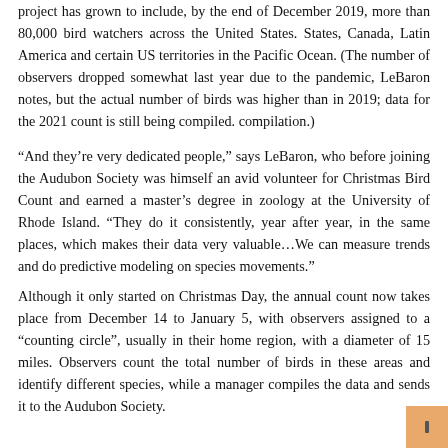project has grown to include, by the end of December 2019, more than 80,000 bird watchers across the United States. States, Canada, Latin America and certain US territories in the Pacific Ocean. (The number of observers dropped somewhat last year due to the pandemic, LeBaron notes, but the actual number of birds was higher than in 2019; data for the 2021 count is still being compiled. compilation.)
“And they’re very dedicated people,” says LeBaron, who before joining the Audubon Society was himself an avid volunteer for Christmas Bird Count and earned a master’s degree in zoology at the University of Rhode Island. “They do it consistently, year after year, in the same places, which makes their data very valuable…We can measure trends and do predictive modeling on species movements.”
Although it only started on Christmas Day, the annual count now takes place from December 14 to January 5, with observers assigned to a “counting circle”, usually in their home region, with a diameter of 15 miles. Observers count the total number of birds in these areas and identify different species, while a manager compiles the data and sends it to the Audubon Society.